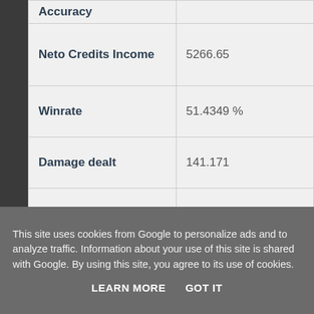| Metric | Value |
| --- | --- |
| Accuracy |  |
| Neto Credits Income | 5266.65 |
| Winrate | 51.4349 % |
| Damage dealt | 141.171 |
| Kills per Battle | 0.485588 |
| More stats @ vbaddict.net | More stats |
This site uses cookies from Google to personalize ads and to analyze traffic. Information about your use of this site is shared with Google. By using this site, you agree to its use of cookies.
LEARN MORE   GOT IT